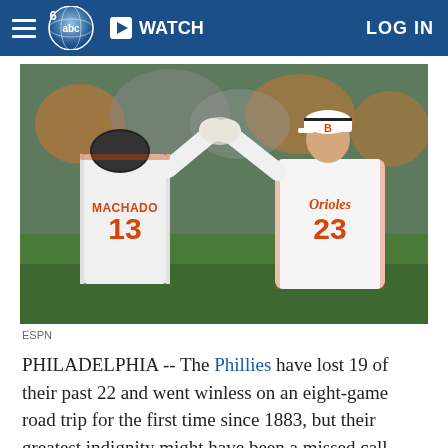WATCH  LOG IN
[Figure (photo): Two Baltimore Orioles baseball players high-fiving. The player facing away wears jersey number 13 with the name MACHADO. The player facing the camera wears number 23 with 'Orioles' script on his jersey.]
ESPN
PHILADELPHIA -- The Phillies have lost 19 of their past 22 and went winless on an eight-game road trip for the first time since 1883, but their greatest indignity might have been a missed call.